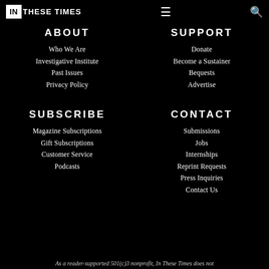In These Times — navigation header with logo, hamburger menu, and search icon
ABOUT
Who We Are
Investigative Institute
Past Issues
Privacy Policy
SUPPORT
Donate
Become a Sustainer
Bequests
Advertise
SUBSCRIBE
Magazine Subscriptions
Gift Subscriptions
Customer Service
Podcasts
CONTACT
Submissions
Jobs
Internships
Reprint Requests
Press Inquiries
Contact Us
As a reader-supported 501(c)3 nonprofit, In These Times does not